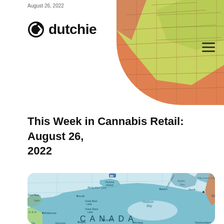August 26, 2022
[Figure (map): Partial globe map showing North America with orange/yellow-green coloring, used as decorative header element]
[Figure (logo): Dutchie logo with circular arrow icon and bold 'dutchie' wordmark]
This Week in Cannabis Retail: August 26, 2022
[Figure (map): Political map of Canada showing provinces and territories with labels including Beaufort Sea, Victoria Island, Baffin Bay, Ellesmere Island, Hudson Bay, U.S.A., Inuvik, Whitehorse, Edmonton, Calgary, Winnipeg, Iqaluit, Nuuk, Great Bear Lake, Great Slave Lake, Newfoundland]